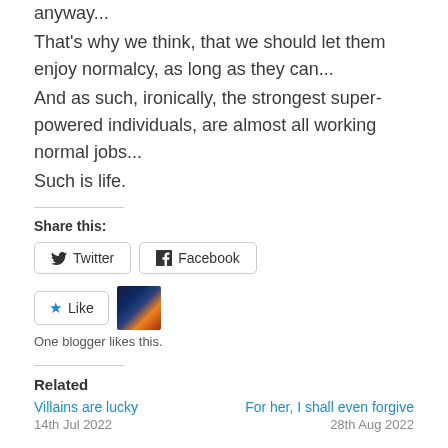anyway...
That's why we think, that we should let them enjoy normalcy, as long as they can...
And as such, ironically, the strongest super-powered individuals, are almost all working normal jobs...
Such is life.
Share this:
Twitter  Facebook
Like  [blogger thumbnail]
One blogger likes this.
Related
Villains are lucky  |  For her, I shall even forgive
14th Jul 2022  |  28th Aug 2022